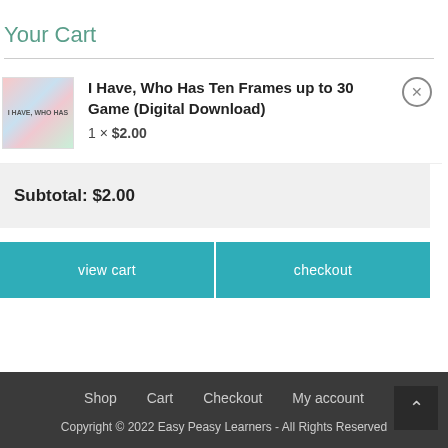Your Cart
[Figure (illustration): Product thumbnail showing I Have Who Has Ten Frames game cards]
I Have, Who Has Ten Frames up to 30 Game (Digital Download)
1 × $2.00
Subtotal: $2.00
view cart
checkout
Shop   Cart   Checkout   My account
Copyright © 2022 Easy Peasy Learners - All Rights Reserved